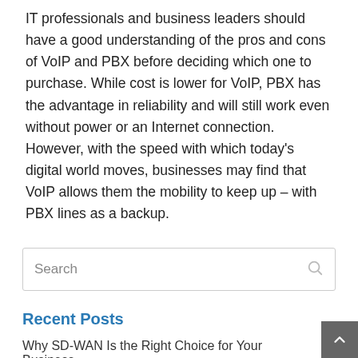IT professionals and business leaders should have a good understanding of the pros and cons of VoIP and PBX before deciding which one to purchase. While cost is lower for VoIP, PBX has the advantage in reliability and will still work even without power or an Internet connection. However, with the speed with which today's digital world moves, businesses may find that VoIP allows them the mobility to keep up – with PBX lines as a backup.
Search
Recent Posts
Why SD-WAN Is the Right Choice for Your Business